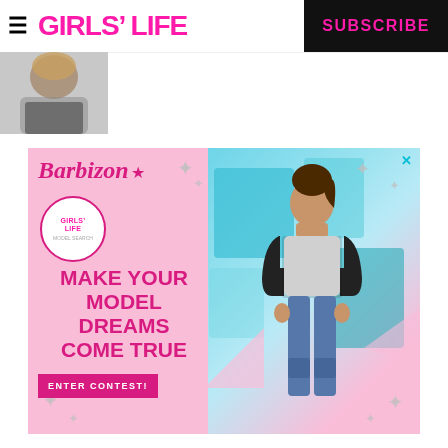GIRLS' LIFE | SUBSCRIBE
[Figure (photo): Partial photo of a person, cropped, visible in top left below header]
[Figure (infographic): Barbizon / Girls' Life advertisement: pink background, model in jeans and dark jacket, text 'MAKE YOUR MODEL DREAMS COME TRUE', 'ENTER CONTEST!' button, Barbizon logo with star, Girls' Life badge, silver star decorations]